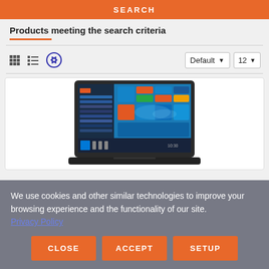SEARCH
Products meeting the search criteria
[Figure (screenshot): A laptop showing Windows 10 start menu on its screen]
We use cookies and other similar technologies to improve your browsing experience and the functionality of our site. Privacy Policy
CLOSE  ACCEPT  SETUP